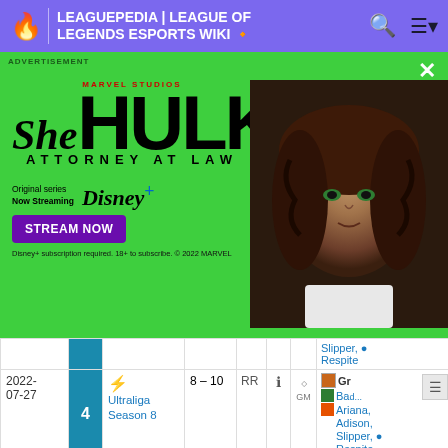LEAGUEPEDIA | LEAGUE OF LEGENDS ESPORTS WIKI
[Figure (screenshot): She-Hulk: Attorney at Law advertisement banner on green background, with Marvel Studios logo, Disney+ and Stream Now button, and actress photo on right side.]
| Date | # | League | Score | Type | Info | Trophy | Roster |
| --- | --- | --- | --- | --- | --- | --- | --- |
|  |  |  |  |  |  | Slipper, Respite |  |
| 2022-07-27 | 4 | Ultraliga Season 8 | 8 – 10 | RR | ℹ | GM | Gr...
Ba...
Ariana,
Adison,
Slipper,
Respite |
| 2022-03-09 | 7 | Ultraliga Season 7 | 8 – 10 | RR | ℹ | GM | Grzyb...
Badlyy
Mercile...
Aria... |